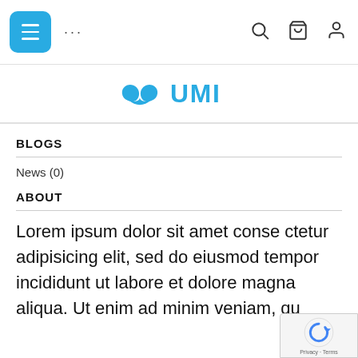Navigation bar with menu button, dots, search, bag, and user icons
[Figure (logo): UMI brand logo in blue with a shield/leaf icon]
BLOGS
News (0)
ABOUT
Lorem ipsum dolor sit amet conse ctetur adipisicing elit, sed do eiusmod tempor incididunt ut labore et dolore magna aliqua. Ut enim ad minim veniam, qu